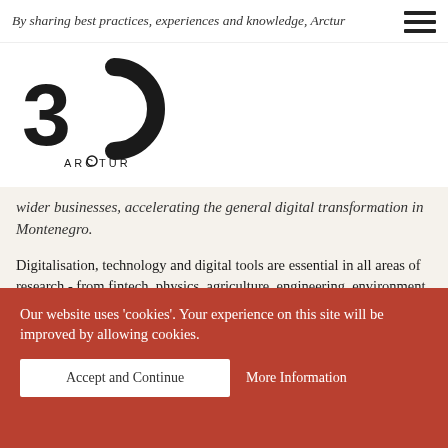By sharing best practices, experiences and knowledge, Arctur
[Figure (logo): Arctur 30th anniversary logo: bold '30' numeral with a C-shaped arc and 'ARCTUR' text below]
wider businesses, accelerating the general digital transformation in Montenegro.
Digitalisation, technology and digital tools are essential in all areas of research - from fintech, physics, agriculture, engineering, environment to biomedicine - to achieve scientific understanding and breakthroughs. State-of-the-art technologies are indispensable tools for researchers and policymakers in tackling major societal challenges, from climate change, smart and green development, and sustainable agriculture to adapted medicine and crisis management.
As a well-known pioneer for digitalisation, Tourism 4.0 and best practices... event held on...
Our website uses 'cookies'. Your experience on this site will be improved by allowing cookies.